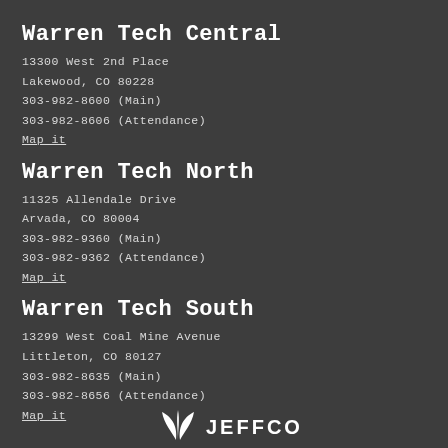Warren Tech Central
13300 West 2nd Place
Lakewood, CO 80228
303-982-8600 (Main)
303-982-8606 (Attendance)
Map it
Warren Tech North
11325 Allendale Drive
Arvada, CO 80004
303-982-9360 (Main)
303-982-9362 (Attendance)
Map it
Warren Tech South
13299 West Coal Mine Avenue
Littleton, CO 80127
303-982-8635 (Main)
303-982-8656 (Attendance)
Map it
[Figure (logo): Jeffco Public Schools logo with leaf/plant icon and JEFFCO text]